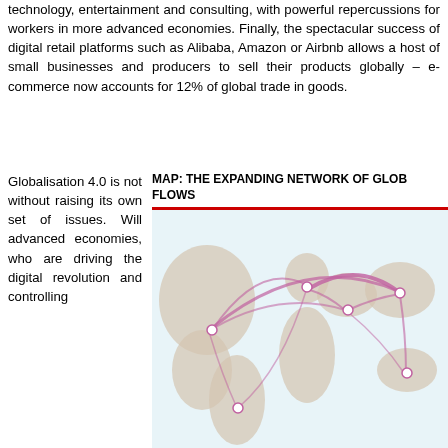technology, entertainment and consulting, with powerful repercussions for workers in more advanced economies. Finally, the spectacular success of digital retail platforms such as Alibaba, Amazon or Airbnb allows a host of small businesses and producers to sell their products globally – e-commerce now accounts for 12% of global trade in goods.
Globalisation 4.0 is not without raising its own set of issues. Will advanced economies, who are driving the digital revolution and controlling
MAP: THE EXPANDING NETWORK OF GLOBAL FLOWS
[Figure (map): World map showing expanding network of global flows with curved lines connecting nodes across continents, particularly concentrated around Europe/Middle East and East Asia regions]